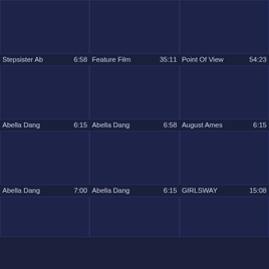[Figure (screenshot): Video thumbnail grid showing 12 video items in a 3-column layout with dark navy background. Each item has a thumbnail image area and a text label with title and duration.]
Stepsister Ab  6:58
Feature Film  35:11
Point Of View  54:23
Abella Dang  6:15
Abella Dang  6:58
August Ames  6:15
Abella Dang  7:00
Abella Dang  6:15
GIRLSWAY  15:08